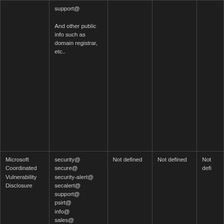|  | support@

And other public info such as domain registrar, etc.. |  |  |  |
| Microsoft Coordinated Vulnerability Disclosure | security@
secure@
security-alert@
secalert@
support@
psirt@
info@
sales@

And search engine results, etc.. | Not defined | Not defined | Not defi... |
| CERT/CC Vulnerability Disclosure Process | Not published | Not defined | Not defined | Not defi... |
| ZDI Disclosure Policy | security@
support@ | 5 days then telephone | Not defined | 6 Month... |